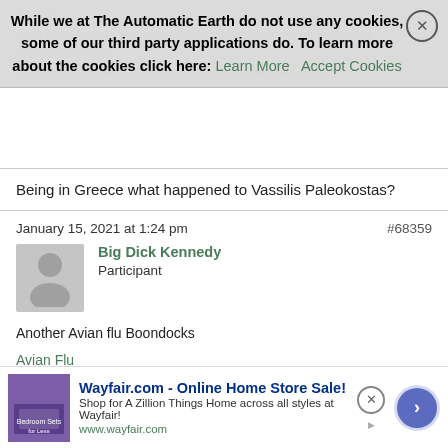While we at The Automatic Earth do not use any cookies, some of our third party applications do. To learn more about the cookies click here: Learn More  Accept Cookies
Being in Greece what happened to Vassilis Paleokostas?
January 15, 2021 at 1:24 pm  #68359
Big Dick Kennedy
Participant
Another Avian flu Boondocks
Avian Flu

And excellent Dilbert
Dilbert
[Figure (screenshot): Wayfair.com advertisement banner: Online Home Store Sale! Shop for A Zillion Things Home across all styles at Wayfair! www.wayfair.com]